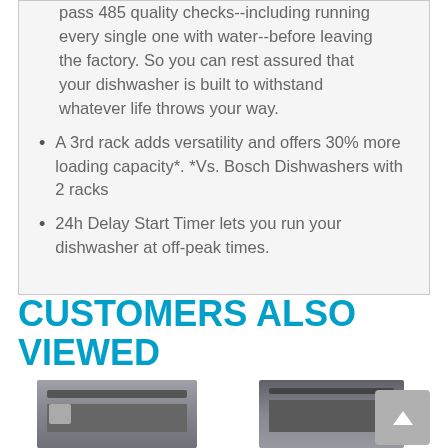pass 485 quality checks--including running every single one with water--before leaving the factory. So you can rest assured that your dishwasher is built to withstand whatever life throws your way.
A 3rd rack adds versatility and offers 30% more loading capacity*. *Vs. Bosch Dishwashers with 2 racks
24h Delay Start Timer lets you run your dishwasher at off-peak times.
CUSTOMERS ALSO VIEWED
[Figure (photo): Two dishwasher product images shown side by side at the bottom of the page in a 'Customers Also Viewed' section]